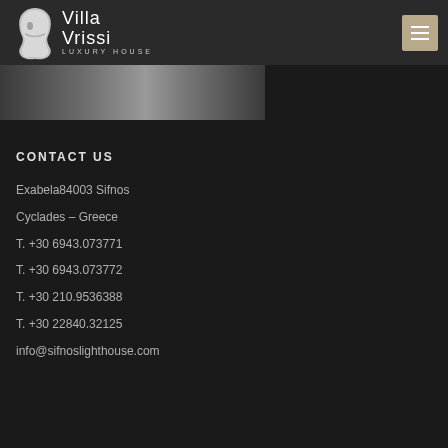[Figure (logo): Villa Vrissi Luxury House logo with white abstract figure/mask silhouette and text]
[Figure (photo): Partial interior/exterior photo strip in grayscale]
CONTACT US
Exabela84003 Sifnos
Cyclades – Greece
T. +30 6943.073771
T. +30 6943.073772
T. +30 210.9536388
T. +30 22840.32125
info@sifnoslighthouse.com